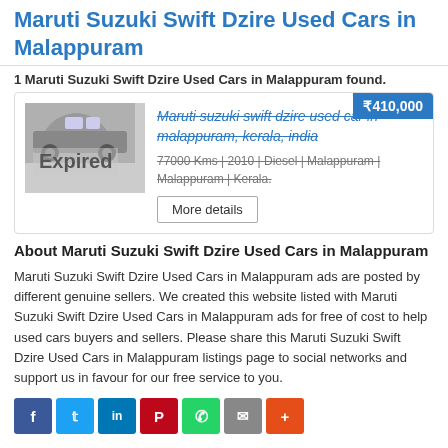Maruti Suzuki Swift Dzire Used Cars in Malappuram
1 Maruti Suzuki Swift Dzire Used Cars in Malappuram found.
[Figure (other): Listing card showing a Maruti Suzuki Swift Dzire used car with Expired overlay on photo, price badge ₹410,000, car details and More details button]
About Maruti Suzuki Swift Dzire Used Cars in Malappuram
Maruti Suzuki Swift Dzire Used Cars in Malappuram ads are posted by different genuine sellers. We created this website listed with Maruti Suzuki Swift Dzire Used Cars in Malappuram ads for free of cost to help used cars buyers and sellers. Please share this Maruti Suzuki Swift Dzire Used Cars in Malappuram listings page to social networks and support us in favour for our free service to you.
[Figure (other): Social sharing buttons: Facebook, Twitter, LinkedIn, Pinterest, WhatsApp, Email, More]